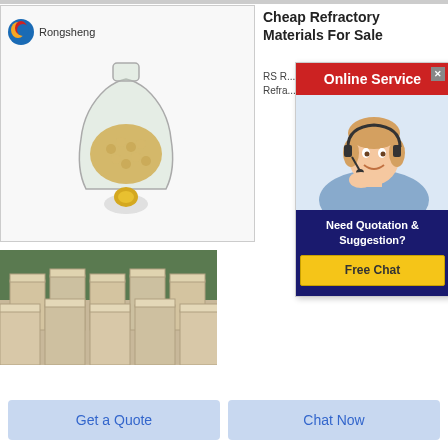[Figure (photo): Rongsheng logo and product photo: glass bottle containing yellow/gold spherical beads on light background]
Cheap Refractory Materials For Sale
RS R... Refra...
[Figure (photo): Online Service popup with red header, customer service agent woman with headset, and Free Chat button]
[Figure (photo): Stack of light-colored refractory bricks in a warehouse]
Get a Quote
Chat Now